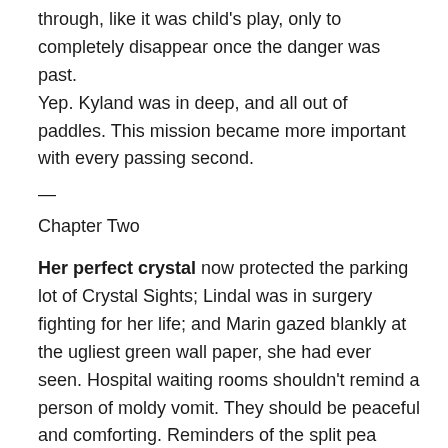through, like it was child's play, only to completely disappear once the danger was past.
Yep. Kyland was in deep, and all out of paddles. This mission became more important with every passing second.
—
Chapter Two
Her perfect crystal now protected the parking lot of Crystal Sights; Lindal was in surgery fighting for her life; and Marin gazed blankly at the ugliest green wall paper, she had ever seen. Hospital waiting rooms shouldn't remind a person of moldy vomit. They should be peaceful and comforting. Reminders of the split pea soup incident from the Exorcist was neither peaceful nor comforting. Even a stark white would be more pleasant that the